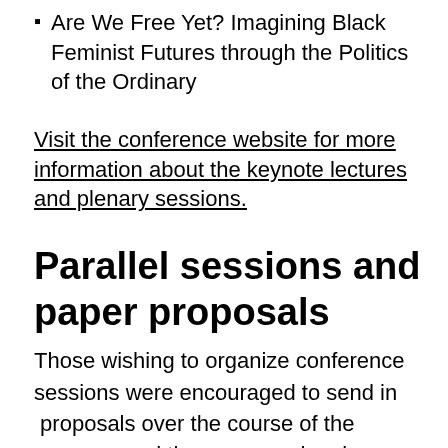Are We Free Yet? Imagining Black Feminist Futures through the Politics of the Ordinary
Visit the conference website for more information about the keynote lectures and plenary sessions.
Parallel sessions and paper proposals
Those wishing to organize conference sessions were encouraged to send in  proposals over the course of the summer, and the response has been overwhelmingly positive. The committee received session proposals on a huge variety of themes, and ultimately decided to accept 32 session proposals.